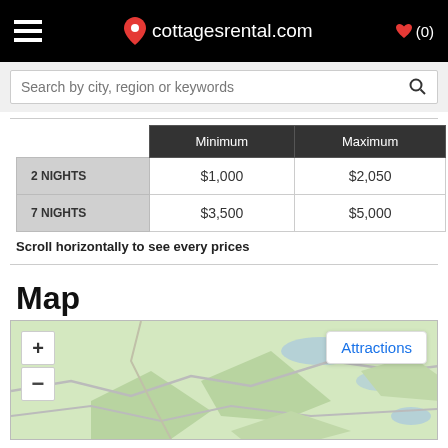cottagesrental.com
Search by city, region or keywords
|  | Minimum | Maximum |
| --- | --- | --- |
| 2 NIGHTS | $1,000 | $2,050 |
| 7 NIGHTS | $3,500 | $5,000 |
Scroll horizontally to see every prices
Map
[Figure (map): Interactive map showing terrain with zoom controls (+/-) and an Attractions button]